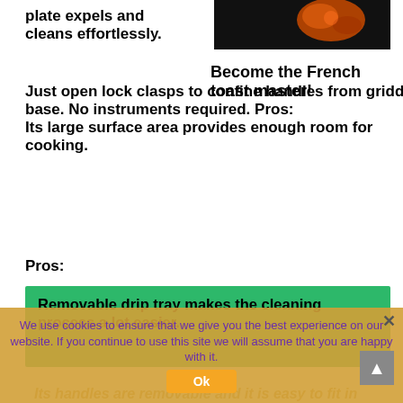plate expels and cleans effortlessly.
[Figure (photo): Dark background photo with orange food item (French toast or similar) visible in upper right area]
Become the French toast master!
Just open lock clasps to confine handles from griddle base. No instruments required. Pros:
Its large surface area provides enough room for cooking.
Pros:
Removable drip tray makes the cleaning process a lot easier.
We use cookies to ensure that we give you the best experience on our website. If you continue to use this site we will assume that you are happy with it.
Its handles are removable and it is easy to fit in the cabinet.